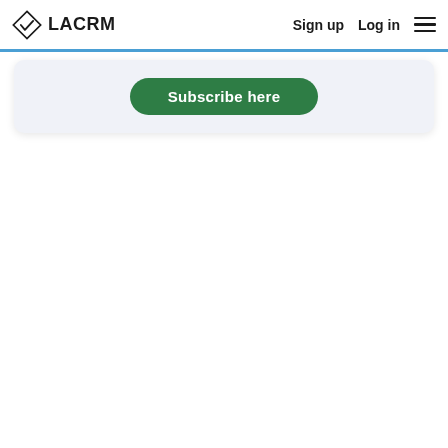LACRM  Sign up  Log in
[Figure (screenshot): Green rounded 'Subscribe here' button on a light blue-grey card background]